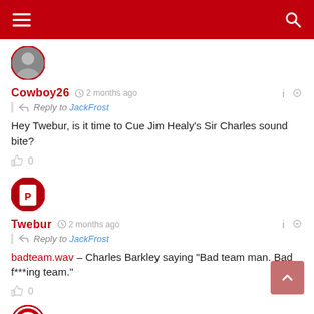Navigation bar with menu and search icons
[Figure (photo): User avatar for Cowboy26 - circular profile photo of a person]
Cowboy26  2 months ago  Reply to JackFrost
Hey Twebur, is it time to Cue Jim Healy's Sir Charles sound bite?
0
[Figure (photo): User avatar for Twebur - circular profile photo of a baseball player]
Twebur  2 months ago  Reply to JackFrost
badteam.wav – Charles Barkley saying "Bad team man. Bad f***ing team."
0
[Figure (logo): Los Angeles Angels baseball team logo - circular emblem]